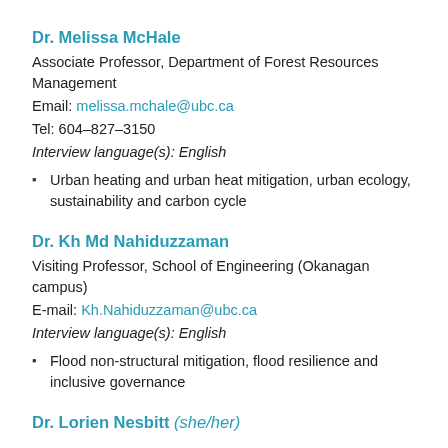Dr. Melissa McHale
Associate Professor, Department of Forest Resources Management
Email: melissa.mchale@ubc.ca
Tel: 604–827–3150
Interview language(s): English
Urban heating and urban heat mitigation, urban ecology, sustainability and carbon cycle
Dr. Kh Md Nahiduzzaman
Visiting Professor, School of Engineering (Okanagan campus)
E-mail: Kh.Nahiduzzaman@ubc.ca
Interview language(s): English
Flood non-structural mitigation, flood resilience and inclusive governance
Dr. Lorien Nesbitt (she/her)